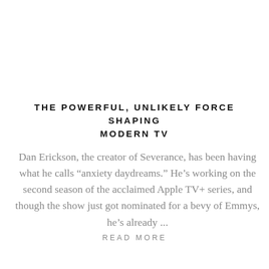THE POWERFUL, UNLIKELY FORCE SHAPING MODERN TV
Dan Erickson, the creator of Severance, has been having what he calls “anxiety daydreams.” He’s working on the second season of the acclaimed Apple TV+ series, and though the show just got nominated for a bevy of Emmys, he’s already ...
READ MORE